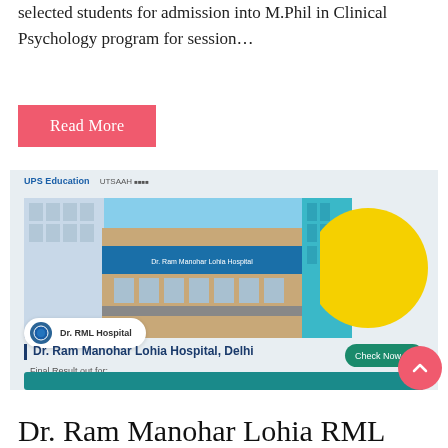selected students for admission into M.Phil in Clinical Psychology program for session...
Read More
[Figure (screenshot): Screenshot of a UPS Education / UTSAAH card showing Dr. Ram Manohar Lohia Hospital, Delhi with a building photo, a 'Check Now' button, and text reading 'Final Result out for: M Phil in Clinical Psychology']
Dr. Ram Manohar Lohia RML